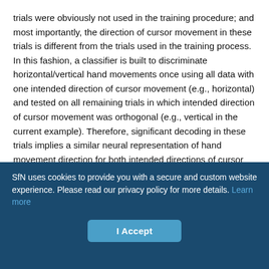trials were obviously not used in the training procedure; and most importantly, the direction of cursor movement in these trials is different from the trials used in the training process. In this fashion, a classifier is built to discriminate horizontal/vertical hand movements once using all data with one intended direction of cursor movement (e.g., horizontal) and tested on all remaining trials in which intended direction of cursor movement was orthogonal (e.g., vertical in the current example). Therefore, significant decoding in these trials implies a similar neural representation of hand movement direction for both intended directions of cursor movement. For each subject, this procedure was performed in both directions: once by training on trials in which the intended direction of cursor movement was horizontal and testing on trials in which intended direction of cursor
SfN uses cookies to provide you with a secure and custom website experience. Please read our privacy policy for more details. Learn more